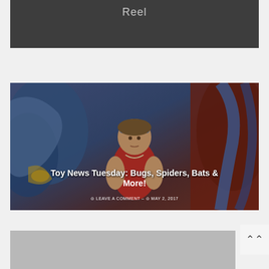Reel
[Figure (photo): Action figure of a female character wearing a blue headband and red tank top, posed in front of a colorful illustrated background featuring large alien/monster creatures in blue and red tones. Overlaid title text reads 'Toy News Tuesday: Bugs, Spiders, Bats & More!' with metadata 'LEAVE A COMMENT – MAY 2, 2017'.]
Toy News Tuesday: Bugs, Spiders, Bats & More!
LEAVE A COMMENT – MAY 2, 2017
[Figure (photo): Partially visible gray image at the bottom of the page, cropped.]